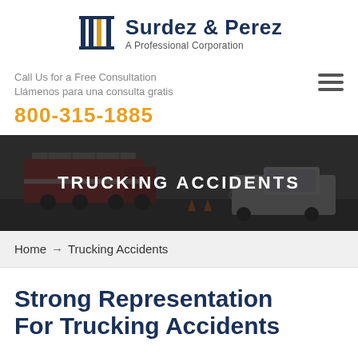[Figure (logo): Surdez & Perez law firm logo with column icon]
Call Us for a Free Consultation
Llámenos para una consulta gratis
800-315-1885
[Figure (photo): Trucking accident scene with fire truck and damaged vehicle]
TRUCKING ACCIDENTS
Home → Trucking Accidents
Strong Representation For Trucking Accidents